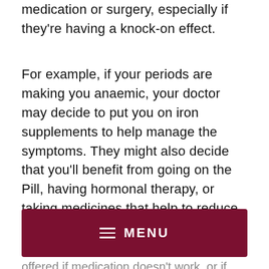medication or surgery, especially if they're having a knock-on effect.
For example, if your periods are making you anaemic, your doctor may decide to put you on iron supplements to help manage the symptoms. They might also decide that you'll benefit from going on the Pill, having hormonal therapy, or taking medicines that help to reduce your bleeding.
[Figure (other): Dark red menu button bar with hamburger icon and MENU text]
offered if medication doesn't work, or if